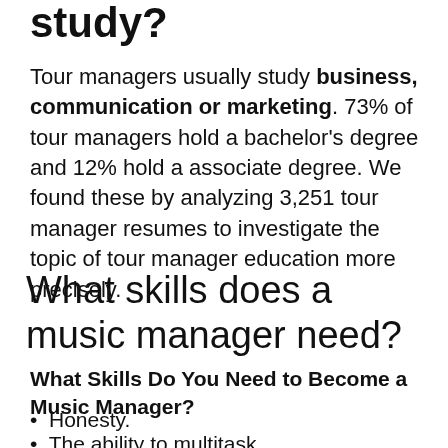study?
Tour managers usually study business, communication or marketing. 73% of tour managers hold a bachelor's degree and 12% hold a associate degree. We found these by analyzing 3,251 tour manager resumes to investigate the topic of tour manager education more precisely.
What skills does a music manager need?
What Skills Do You Need to Become a Music Manager?
Honesty.
The ability to multitask.